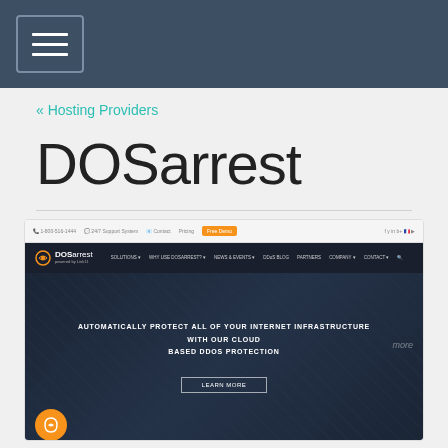[Navigation menu button]
« Hosting Providers
DOSarrest
[Figure (screenshot): Screenshot of the DOSarrest website homepage showing their navigation bar with logo, menu items (SOLUTIONS, WHY USE DOSARREST?, NEWS & EVENTS, DDoS BLOG, PARTNERS, COMPANY, CONTACT), a dark hero section with text 'AUTOMATICALLY PROTECT ALL OF YOUR INTERNET INFRASTRUCTURE WITH OUR CLOUD BASED DDOS PROTECTION' and a LEARN MORE button, and an orange circular badge in the bottom left.]